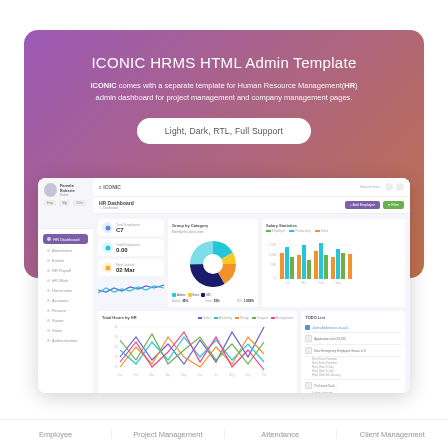ICONIC HRMS HTML Admin Template
ICONIC comes with a separate template for Human Resource Management(HR) admin dashboard for project management and company management pages.
Light, Dark, RTL, Full Support
[Figure (screenshot): Screenshot of ICONIC HRMS admin dashboard showing sidebar navigation, HR stats cards, pie chart for employee distribution, stacked bar chart for salary statistics, a multi-line area chart for total hours by HR, and a to-do list panel.]
Employee
Project Management
Attendance
Client Management